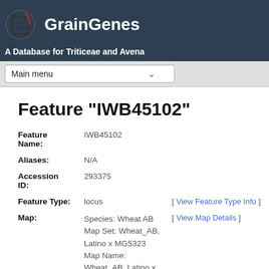GrainGenes — A Database for Triticeae and Avena
Feature "IWB45102"
| Field | Value | Action |
| --- | --- | --- |
| Feature Name: | IWB45102 |  |
| Aliases: | N/A |  |
| Accession ID: | 293375 |  |
| Feature Type: | locus | [ View Feature Type Info ] |
| Map: | Species: Wheat AB
Map Set: Wheat_AB, Latino x MG5323
Map Name: Wheat_AB, Latino x MG5323 7B | [ View Map Details ] |
| Start: | 3.8 |  |